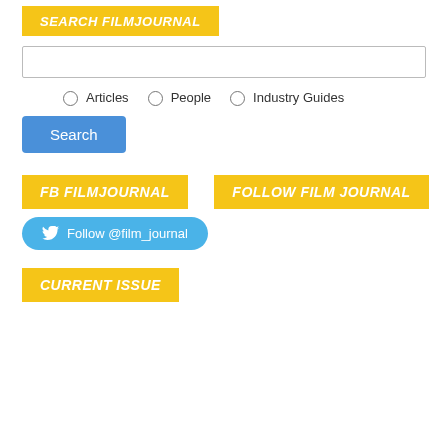SEARCH FILMJOURNAL
[Figure (screenshot): Search input text box]
Articles  People  Industry Guides (radio buttons)
Search (button)
FB FILMJOURNAL
FOLLOW FILM JOURNAL
Follow @film_journal (Twitter follow button)
CURRENT ISSUE